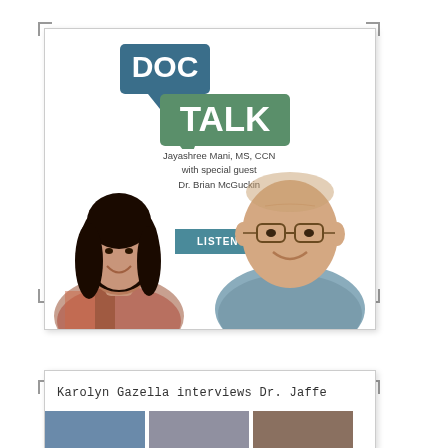[Figure (illustration): Doc Talk podcast promotional card featuring two photos of hosts — Jayashree Mani MS CCN and Dr. Brian McGuckin — with the Doc Talk logo (speech bubble style) and a 'Listen Now' button]
Karolyn Gazella interviews Dr. Jaffe
[Figure (photo): Partial view of a second podcast card showing 'Karolyn Gazella interviews Dr. Jaffe' and two partial photos at the bottom]